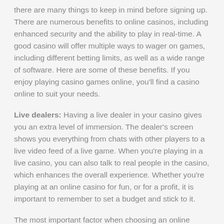there are many things to keep in mind before signing up. There are numerous benefits to online casinos, including enhanced security and the ability to play in real-time. A good casino will offer multiple ways to wager on games, including different betting limits, as well as a wide range of software. Here are some of these benefits. If you enjoy playing casino games online, you'll find a casino online to suit your needs.
Live dealers: Having a live dealer in your casino gives you an extra level of immersion. The dealer's screen shows you everything from chats with other players to a live video feed of a live game. When you're playing in a live casino, you can also talk to real people in the casino, which enhances the overall experience. Whether you're playing at an online casino for fun, or for a profit, it is important to remember to set a budget and stick to it.
The most important factor when choosing an online casino is the safety and security of the game. The best casinos use latest technology to ensure a fair game. They have live dealers on their websites and monitor their activity on-screen. You should also be wary of live casinos that only offer email support. While there are a number of great online casinos, you need to choose one that offers